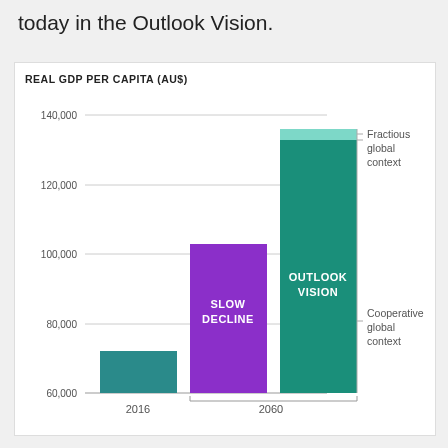today in the Outlook Vision.
[Figure (bar-chart): REAL GDP PER CAPITA (AU$)]